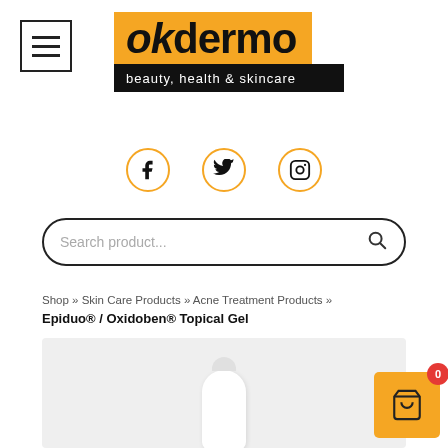[Figure (logo): OKDermo logo with orange background and black tagline bar reading 'beauty, health & skincare']
[Figure (infographic): Three social media icons (Facebook, Twitter, Instagram) in orange circles]
[Figure (screenshot): Search bar with placeholder text 'Search product...' and magnifying glass icon]
Shop » Skin Care Products » Acne Treatment Products »
Epiduo® / Oxidoben® Topical Gel
[Figure (photo): Product image area showing a white tube/topical gel container on light grey background]